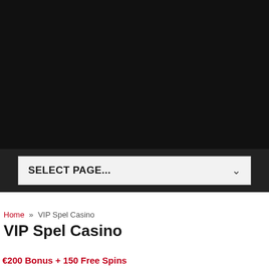[Figure (screenshot): Black header background area of a website]
SELECT PAGE...
Home » VIP Spel Casino
VIP Spel Casino
€200 Bonus + 150 Free Spins